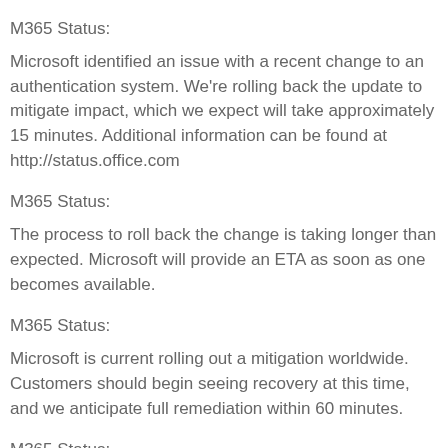M365 Status:
Microsoft identified an issue with a recent change to an authentication system. We're rolling back the update to mitigate impact, which we expect will take approximately 15 minutes. Additional information can be found at http://status.office.com
M365 Status:
The process to roll back the change is taking longer than expected. Microsoft will provide an ETA as soon as one becomes available.
M365 Status:
Microsoft is current rolling out a mitigation worldwide. Customers should begin seeing recovery at this time, and we anticipate full remediation within 60 minutes.
M365 Status:
Microsoft has finished deploying the update to all impacted